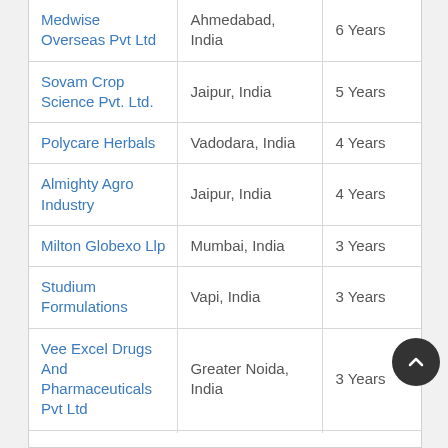| Company | Location | Duration |
| --- | --- | --- |
| Medwise Overseas Pvt Ltd | Ahmedabad, India | 6 Years |
| Sovam Crop Science Pvt. Ltd. | Jaipur, India | 5 Years |
| Polycare Herbals | Vadodara, India | 4 Years |
| Almighty Agro Industry | Jaipur, India | 4 Years |
| Milton Globexo Llp | Mumbai, India | 3 Years |
| Studium Formulations | Vapi, India | 3 Years |
| Vee Excel Drugs And Pharmaceuticals Pvt Ltd | Greater Noida, India | 3 Years |
| Commerce India | Coimbatore, India | 3 Years |